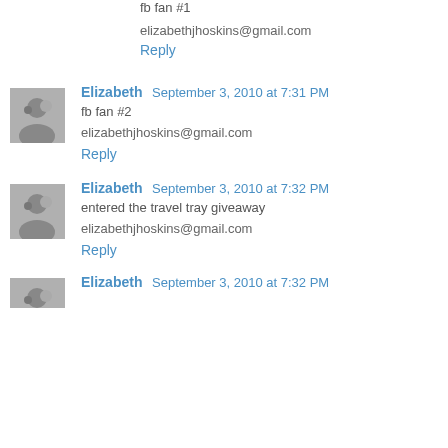fb fan #1
elizabethjhoskins@gmail.com
Reply
Elizabeth  September 3, 2010 at 7:31 PM
fb fan #2
elizabethjhoskins@gmail.com
Reply
Elizabeth  September 3, 2010 at 7:32 PM
entered the travel tray giveaway
elizabethjhoskins@gmail.com
Reply
Elizabeth  September 3, 2010 at 7:32 PM